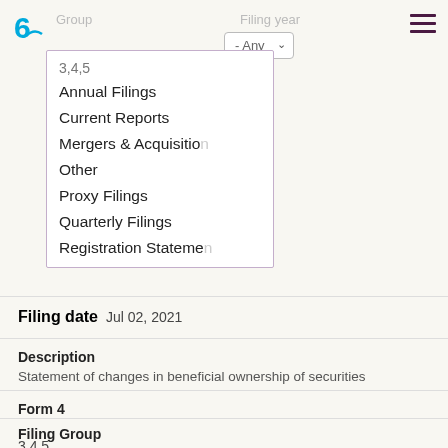[Figure (screenshot): Website navigation bar showing a logo, Group dropdown filter, Filing year filter with Any dropdown, and hamburger menu icon]
3,4,5
Annual Filings
Current Reports
Mergers & Acquisitions
Other
Proxy Filings
Quarterly Filings
Registration Statements
Filing date  Jul 02, 2021
Description
Statement of changes in beneficial ownership of securities
Form 4
Filing Group
3,4,5
View